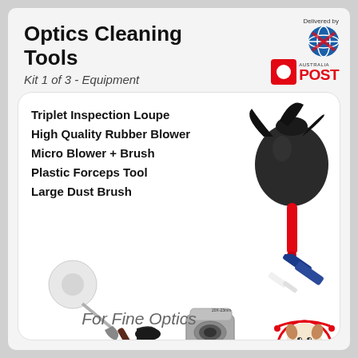Optics Cleaning Tools
Kit 1 of 3 - Equipment
[Figure (logo): Australia Post logo with airmail globe and red POST text]
[Figure (photo): Product kit contents including rubber blower, micro blower with brush, dust brush, triplet inspection loupe, forceps, and other cleaning tools for fine optics]
Triplet Inspection Loupe
High Quality Rubber Blower
Micro Blower + Brush
Plastic Forceps Tool
Large Dust Brush
For Fine Optics